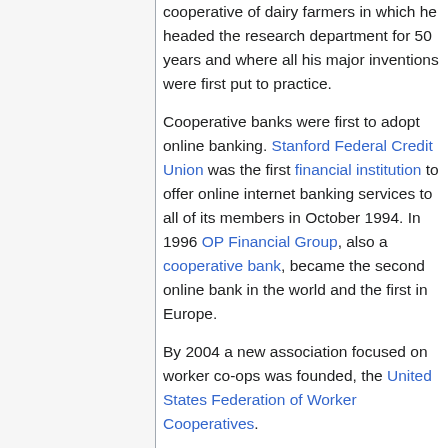cooperative of dairy farmers in which he headed the research department for 50 years and where all his major inventions were first put to practice.
Cooperative banks were first to adopt online banking. Stanford Federal Credit Union was the first financial institution to offer online internet banking services to all of its members in October 1994. In 1996 OP Financial Group, also a cooperative bank, became the second online bank in the world and the first in Europe.
By 2004 a new association focused on worker co-ops was founded, the United States Federation of Worker Cooperatives.
The cooperative movement has been fueled globally by ideas of economic democracy. Economic democracy is a